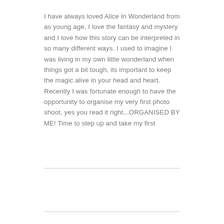I have always loved Alice In Wonderland from as young age, I love the fantasy and mystery and I love how this story can be interpreted in so many different ways. I used to imagine I was living in my own little wonderland when things got a bit tough, its important to keep the magic alive in your head and heart. Recently I was fortunate enough to have the opportunity to organise my very first photo shoot, yes you read it right...ORGANISED BY ME! Time to step up and take my first